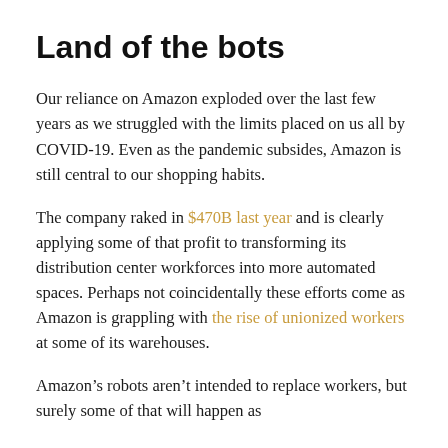Land of the bots
Our reliance on Amazon exploded over the last few years as we struggled with the limits placed on us all by COVID-19. Even as the pandemic subsides, Amazon is still central to our shopping habits.
The company raked in $470B last year and is clearly applying some of that profit to transforming its distribution center workforces into more automated spaces. Perhaps not coincidentally these efforts come as Amazon is grappling with the rise of unionized workers at some of its warehouses.
Amazon’s robots aren’t intended to replace workers, but surely some of that will happen as